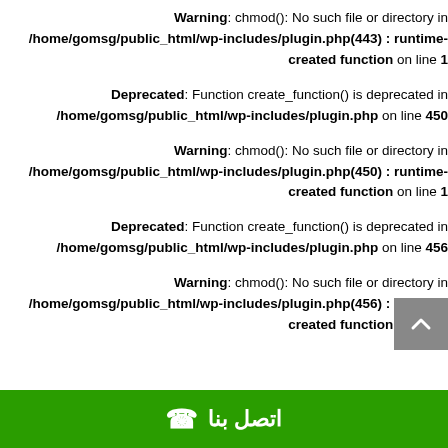Warning: chmod(): No such file or directory in /home/gomsg/public_html/wp-includes/plugin.php(443) : runtime-created function on line 1
Deprecated: Function create_function() is deprecated in /home/gomsg/public_html/wp-includes/plugin.php on line 450
Warning: chmod(): No such file or directory in /home/gomsg/public_html/wp-includes/plugin.php(450) : runtime-created function on line 1
Deprecated: Function create_function() is deprecated in /home/gomsg/public_html/wp-includes/plugin.php on line 456
Warning: chmod(): No such file or directory in /home/gomsg/public_html/wp-includes/plugin.php(456) : runtime-created function on line 1
اتصل بنا